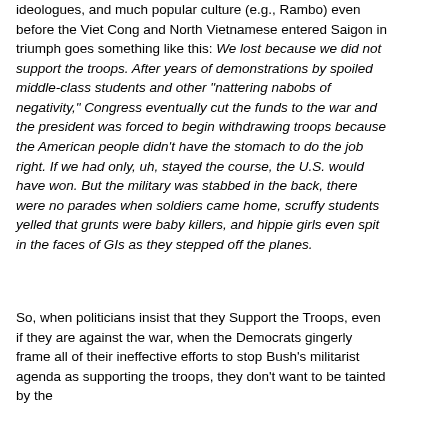ideologues, and much popular culture (e.g., Rambo) even before the Viet Cong and North Vietnamese entered Saigon in triumph goes something like this: We lost because we did not support the troops. After years of demonstrations by spoiled middle-class students and other "nattering nabobs of negativity," Congress eventually cut the funds to the war and the president was forced to begin withdrawing troops because the American people didn't have the stomach to do the job right. If we had only, uh, stayed the course, the U.S. would have won. But the military was stabbed in the back, there were no parades when soldiers came home, scruffy students yelled that grunts were baby killers, and hippie girls even spit in the faces of GIs as they stepped off the planes.
So, when politicians insist that they Support the Troops, even if they are against the war, when the Democrats gingerly frame all of their ineffective efforts to stop Bush's militarist agenda as supporting the troops, they don't want to be tainted by the...